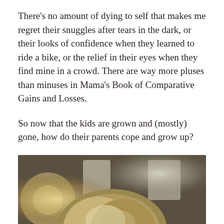There’s no amount of dying to self that makes me regret their snuggles after tears in the dark, or their looks of confidence when they learned to ride a bike, or the relief in their eyes when they find mine in a crowd. There are way more pluses than minuses in Mama’s Book of Comparative Gains and Losses.
So now that the kids are grown and (mostly) gone, how do their parents cope and grow up?
[Figure (photo): A person with blonde hair photographed from behind or slightly above, in a bokeh background with warm blurry lights and window shapes visible]